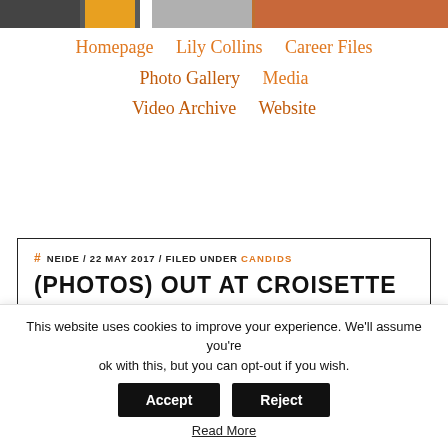[Figure (photo): Photo strip at top of page showing partial images: person on left, yellow background in center, textured orange/food image on right]
Homepage    Lily Collins    Career Files    Photo Gallery    Media    Video Archive    Website
# NEIDE / 22 MAY 2017 / FILED UNDER CANDIDS
(PHOTOS) OUT AT CROISETTE
This website uses cookies to improve your experience. We'll assume you're ok with this, but you can opt-out if you wish.
Accept
Reject
Read More